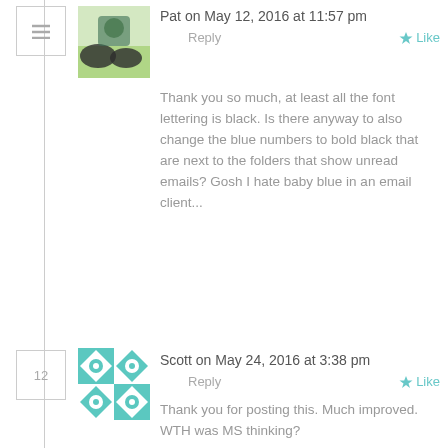Pat on May 12, 2016 at 11:57 pm
Reply
Like
Thank you so much, at least all the font lettering is black. Is there anyway to also change the blue numbers to bold black that are next to the folders that show unread emails? Gosh I hate baby blue in an email client...
Scott on May 24, 2016 at 3:38 pm
Reply
Like
Thank you for posting this. Much improved. WTH was MS thinking?
Scott on May 24, 2016 at 3:39 pm
Reply
Like